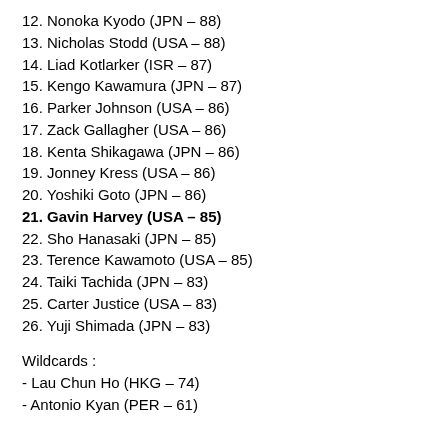12. Nonoka Kyodo (JPN – 88)
13. Nicholas Stodd (USA – 88)
14. Liad Kotlarker (ISR – 87)
15. Kengo Kawamura (JPN – 87)
16. Parker Johnson (USA – 86)
17. Zack Gallagher (USA – 86)
18. Kenta Shikagawa (JPN – 86)
19. Jonney Kress (USA – 86)
20. Yoshiki Goto (JPN – 86)
21. Gavin Harvey (USA – 85)
22. Sho Hanasaki (JPN – 85)
23. Terence Kawamoto (USA – 85)
24. Taiki Tachida (JPN – 83)
25. Carter Justice (USA – 83)
26. Yuji Shimada (JPN – 83)
Wildcards :
- Lau Chun Ho (HKG – 74)
- Antonio Kyan (PER – 61)